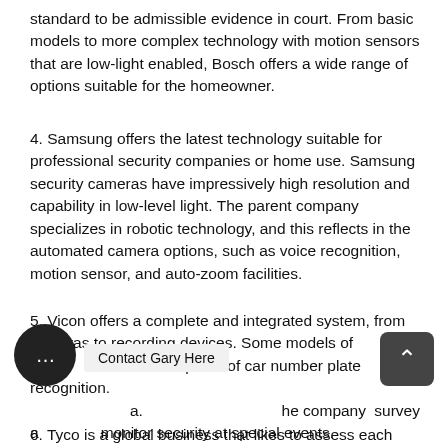standard to be admissible evidence in court. From basic models to more complex technology with motion sensors that are low-light enabled, Bosch offers a wide range of options suitable for the homeowner.
4. Samsung offers the latest technology suitable for professional security companies or home use. Samsung security cameras have impressively high resolution and capability in low-level light. The parent company specializes in robotic technology, and this reflects in the automated camera options, such as voice recognition, motion sensor, and auto-zoom facilities.
5. Vicon offers a complete and integrated system, from cameras to recording devices. Some models of [cameras] are capable of car number plate recognition. [Vicon]. Contact Gary Here [the company] [can] survey and monitor security at special events.
6. Tyco is a global business that likes to assess each